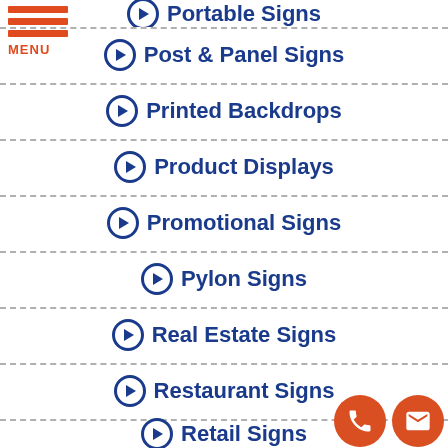MENU
Portable Signs
Post & Panel Signs
Printed Backdrops
Product Displays
Promotional Signs
Pylon Signs
Real Estate Signs
Restaurant Signs
Retail Signs